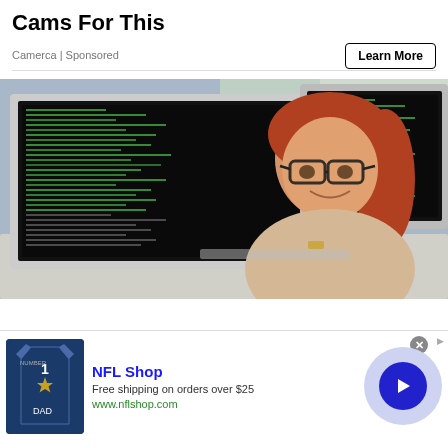Cams For This
Camerca | Sponsored
Learn More
[Figure (photo): Woman with red hair and glasses smiling at camera, sitting in front of two large monitors displaying code/terminal windows, at a desk with keyboard]
[Figure (photo): NFL Shop advertisement banner: Dallas Cowboys jersey image on left, text 'NFL Shop / Free shipping on orders over $25 / www.nflshop.com', blue circle with right arrow on right, close button top right]